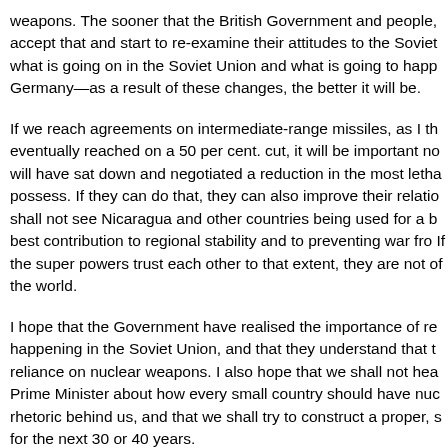weapons. The sooner that the British Government and people, accept that and start to re-examine their attitudes to the Soviet what is going on in the Soviet Union and what is going to happ Germany—as a result of these changes, the better it will be.
If we reach agreements on intermediate-range missiles, as I th eventually reached on a 50 per cent. cut, it will be important no will have sat down and negotiated a reduction in the most letha possess. If they can do that, they can also improve their relatio shall not see Nicaragua and other countries being used for a b best contribution to regional stability and to preventing war fro If the super powers trust each other to that extent, they are not of the world.
I hope that the Government have realised the importance of re happening in the Soviet Union, and that they understand that t reliance on nuclear weapons. I also hope that we shall not hea Prime Minister about how every small country should have nuc rhetoric behind us, and that we shall try to construct a proper, s for the next 30 or 40 years.